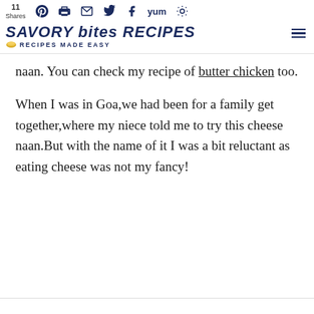11 Shares | Pinterest | Print | Email | Twitter | Facebook | Yum | Savory Bites Recipes - Recipes Made Easy
naan. You can check my recipe of butter chicken too.
When I was in Goa,we had been for a family get together,where my niece told me to try this cheese naan.But with the name of it I was a bit reluctant as eating cheese was not my fancy!